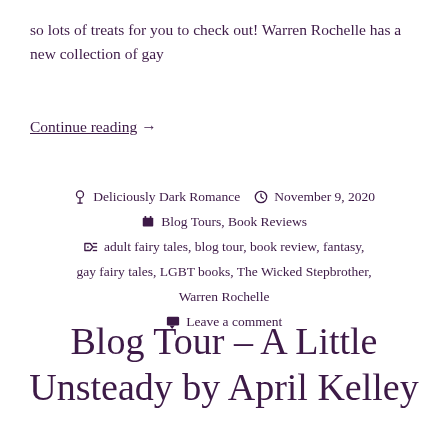so lots of treats for you to check out! Warren Rochelle has a new collection of gay
Continue reading →
Deliciously Dark Romance  November 9, 2020  Blog Tours, Book Reviews  adult fairy tales, blog tour, book review, fantasy, gay fairy tales, LGBT books, The Wicked Stepbrother, Warren Rochelle  Leave a comment
Blog Tour – A Little Unsteady by April Kelley